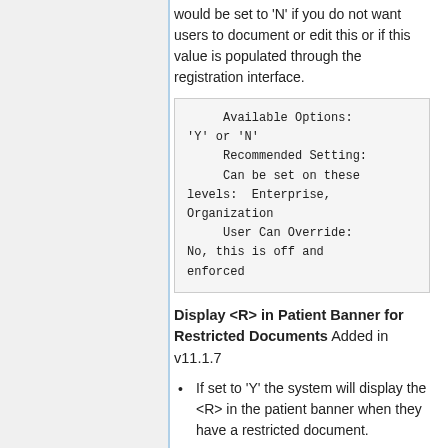would be set to 'N' if you do not want users to document or edit this or if this value is populated through the registration interface.
Available Options: 'Y' or 'N'
    Recommended Setting:
    Can be set on these levels:  Enterprise, Organization
    User Can Override: No, this is off and enforced
Display <R> in Patient Banner for Restricted Documents Added in v11.1.7
If set to 'Y' the system will display the <R> in the patient banner when they have a restricted document.